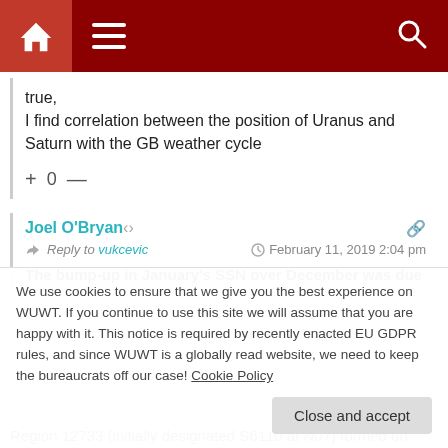Navigation bar with home, menu, and search icons
true,
I find correlation between the position of Uranus and Saturn with the GB weather cycle
+ 0 —
Joel O'Bryan
Reply to vukcevic · February 11, 2019 2:04 pm
The bump-up in January's SSN over December was due
We use cookies to ensure that we give you the best experience on WUWT. If you continue to use this site we will assume that you are happy with it. This notice is required by recently enacted EU GDPR rules, and since WUWT is a globally read website, we need to keep the bureaucrats off our case! Cookie Policy
Close and accept
Region 12733 (initially designated S6110 at N07) formed on